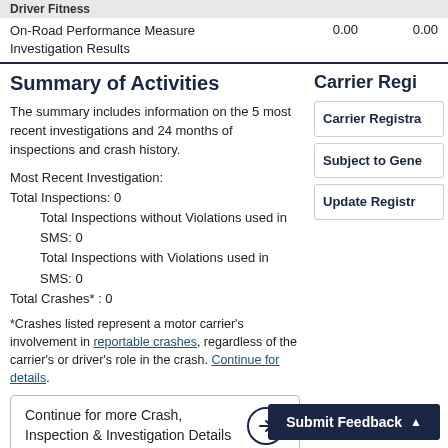Driver Fitness
|  |  |  |
| --- | --- | --- |
| On-Road Performance Measure
Investigation Results | 0.00 | 0.00 |
Summary of Activities
The summary includes information on the 5 most recent investigations and 24 months of inspections and crash history.
Most Recent Investigation:
Total Inspections: 0
    Total Inspections without Violations used in SMS: 0
    Total Inspections with Violations used in SMS: 0
Total Crashes* : 0
*Crashes listed represent a motor carrier's involvement in reportable crashes, regardless of the carrier's or driver's role in the crash. Continue for details.
Continue for more Crash, Inspection & Investigation Details
Carrier Regi
Carrier Registra
Subject to Gene
Update Registr
Submit Feedback